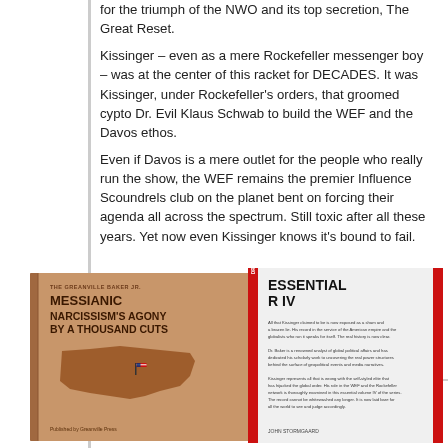for the triumph of the NWO and its top secretion, The Great Reset.
Kissinger – even as a mere Rockefeller messenger boy – was at the center of this racket for DECADES. It was Kissinger, under Rockefeller's orders, that groomed cypto Dr. Evil Klaus Schwab to build the WEF and the Davos ethos.
Even if Davos is a mere outlet for the people who really run the show, the WEF remains the premier Influence Scoundrels club on the planet bent on forcing their agenda all across the spectrum. Still toxic after all these years. Yet now even Kissinger knows it's bound to fail.
[Figure (illustration): Two book covers shown side by side. Left book: brown/tan cover titled 'MESSIANIC NARCISSISM'S AGONY BY A THOUSAND CUTS' by The Greanville Baker Jr, with an illustration of a US map shaped like a cut of meat with an American flag. Right book: white cover with red spine and binding titled 'ESSENTIAL R IV' with text blocks and author name at bottom.]